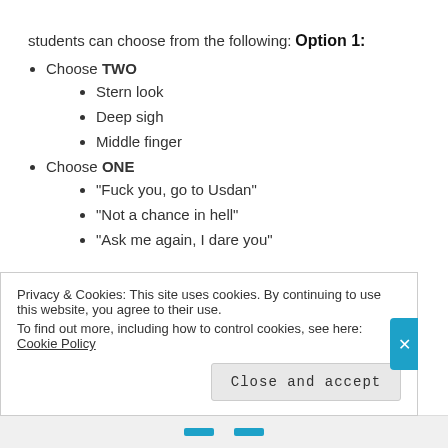students can choose from the following:
Option 1:
Choose TWO
Stern look
Deep sigh
Middle finger
Choose ONE
“Fuck you, go to Usdan”
“Not a chance in hell”
“Ask me again, I dare you”
Privacy & Cookies: This site uses cookies. By continuing to use this website, you agree to their use.
To find out more, including how to control cookies, see here: Cookie Policy
Close and accept